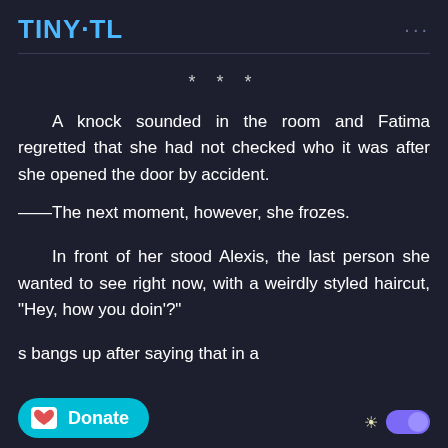TINY·TL
* * *
A knock sounded in the room and Fatima regretted that she had not checked who it was after she opened the door by accident.
——The next moment, however, she frozes.
In front of her stood Alexis, the last person she wanted to see right now, with a weirdly styled haircut, "Hey, how you doin'?"
s bangs up after saying that in a
[Figure (other): Donate button with Ko-fi icon and cyan background, and a dark/light mode toggle switch on the right]